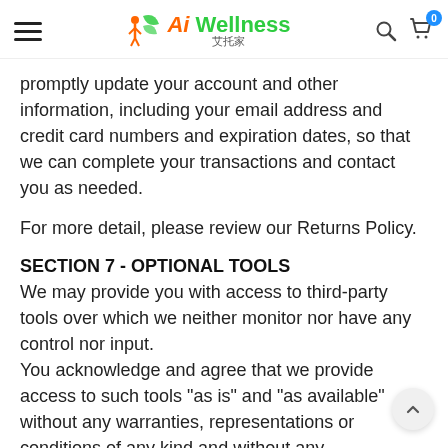[Figure (logo): Ai Wellness logo with hamburger menu, search icon, and cart icon with badge showing 0]
promptly update your account and other information, including your email address and credit card numbers and expiration dates, so that we can complete your transactions and contact you as needed.
For more detail, please review our Returns Policy.
SECTION 7 - OPTIONAL TOOLS
We may provide you with access to third-party tools over which we neither monitor nor have any control nor input.
You acknowledge and agree that we provide access to such tools "as is" and "as available" without any warranties, representations or conditions of any kind and without any